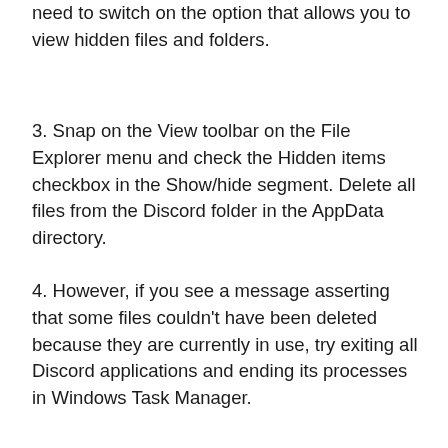need to switch on the option that allows you to view hidden files and folders.
3. Snap on the View toolbar on the File Explorer menu and check the Hidden items checkbox in the Show/hide segment. Delete all files from the Discord folder in the AppData directory.
4. However, if you see a message asserting that some files couldn't have been deleted because they are currently in use, try exiting all Discord applications and ending its processes in Windows Task Manager.